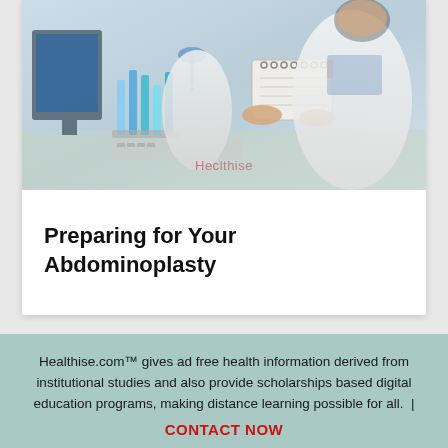[Figure (photo): Laboratory scientists in white coats working with blue liquid test tubes and lab equipment; one holds a spiral notebook. Watermark reads 'Healthise' in the center.]
Preparing for Your Abdominoplasty
Healthise.com™ gives ad free health information derived from institutional studies and also provide scholarships based digital education programs, making distance learning possible for all. |
CONTACT NOW